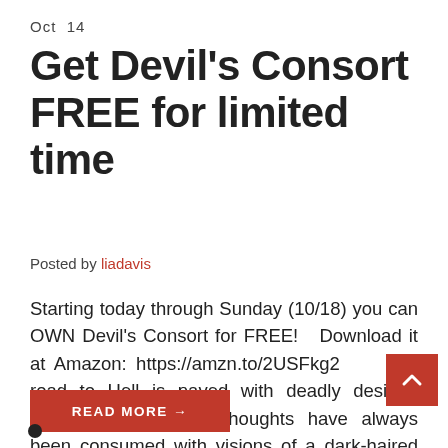Oct  14
Get Devil's Consort FREE for limited time
Posted by liadavis
Starting today through Sunday (10/18) you can OWN Devil's Consort for FREE!   Download it at Amazon: https://amzn.to/2USFkg2     The road to Hell is paved with deadly desires. Lucifer Morningstar's thoughts have always been consumed with visions of a dark-haired beauty. She is the key to stopping the darkness tha coming. She's the [...]
READ MORE →